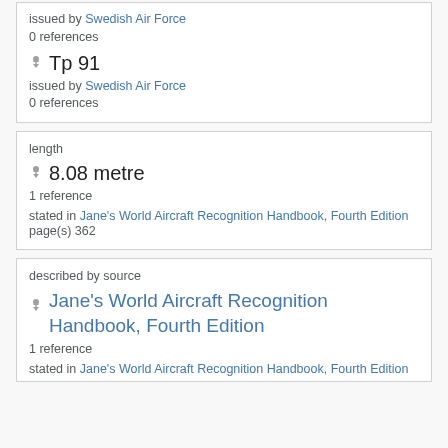issued by Swedish Air Force
0 references
Tp 91
issued by Swedish Air Force
0 references
length
8.08 metre
1 reference
stated in Jane's World Aircraft Recognition Handbook, Fourth Edition
page(s) 362
described by source
Jane's World Aircraft Recognition Handbook, Fourth Edition
1 reference
stated in Jane's World Aircraft Recognition Handbook, Fourth Edition